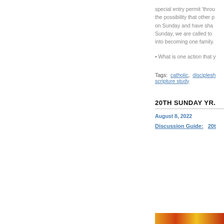special entry permit 'throu the possibility that other p on Sunday and have sha Sunday, we are called to into becoming one family.
• What is one action that y
Tags: catholic, disciplesh scripture study
20TH SUNDAY YR.
August 8, 2022
Discussion Guide: 20t
[Figure (photo): Colorful image strip at the bottom with orange, red, and yellow tones]